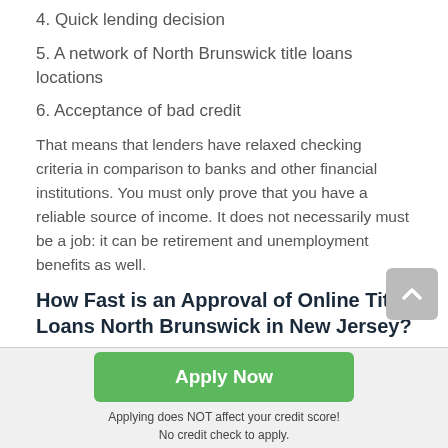4. Quick lending decision
5. A network of North Brunswick title loans locations
6. Acceptance of bad credit
That means that lenders have relaxed checking criteria in comparison to banks and other financial institutions. You must only prove that you have a reliable source of income. It does not necessarily must be a job: it can be retirement and unemployment benefits as well.
How Fast is an Approval of Online Title Loans North Brunswick in New Jersey?
[Figure (other): Green Apply Now button with text below: Applying does NOT affect your credit score! No credit check to apply.]